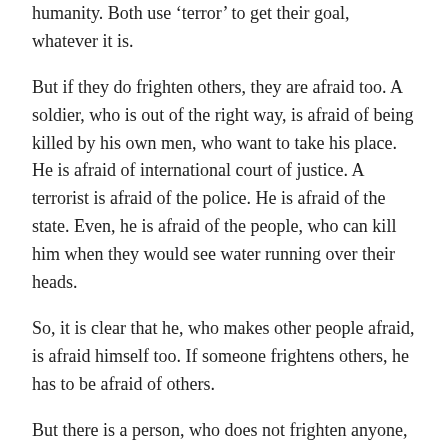humanity. Both use ‘terror’ to get their goal, whatever it is.
But if they do frighten others, they are afraid too. A soldier, who is out of the right way, is afraid of being killed by his own men, who want to take his place. He is afraid of international court of justice. A terrorist is afraid of the police. He is afraid of the state. Even, he is afraid of the people, who can kill him when they would see water running over their heads.
So, it is clear that he, who makes other people afraid, is afraid himself too. If someone frightens others, he has to be afraid of others.
But there is a person, who does not frighten anyone, and who is not afraid of anyone else. He is not an ordinary soldier. He does not use ‘terror’ as his weapon. He does not make other people afraid of him. He cannot be afraid either.
Who is he? Guru Teg Bahadur Sahib Ji calls him “Gyani”